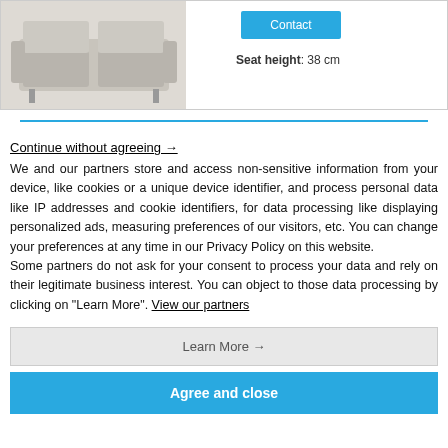[Figure (photo): Light gray fabric sofa product image in top-left of product strip]
Contact
Seat height: 38 cm
Continue without agreeing →
We and our partners store and access non-sensitive information from your device, like cookies or a unique device identifier, and process personal data like IP addresses and cookie identifiers, for data processing like displaying personalized ads, measuring preferences of our visitors, etc. You can change your preferences at any time in our Privacy Policy on this website.
Some partners do not ask for your consent to process your data and rely on their legitimate business interest. You can object to those data processing by clicking on "Learn More". View our partners
Learn More →
Agree and close